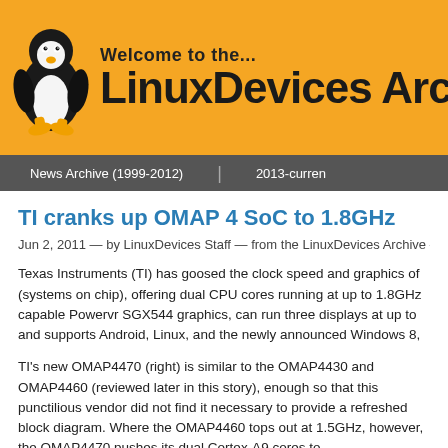[Figure (logo): LinuxDevices Archive website header banner with orange background, Tux penguin logo, and text 'Welcome to the... LinuxDevices Arc']
News Archive (1999-2012) | 2013-curren
TI cranks up OMAP 4 SoC to 1.8GHz
Jun 2, 2011 — by LinuxDevices Staff — from the LinuxDevices Archive —
Texas Instruments (TI) has goosed the clock speed and graphics of (systems on chip), offering dual CPU cores running at up to 1.8GHz capable Powervr SGX544 graphics, can run three displays at up to and supports Android, Linux, and the newly announced Windows 8,
TI's new OMAP4470 (right) is similar to the OMAP4430 and OMAP4460 (reviewed later in this story), enough so that this punctilious vendor did not find it necessary to provide a refreshed block diagram. Where the OMAP4460 tops out at 1.5GHz, however, the OMAP4470 pushes its dual Cortex-A9 cores to